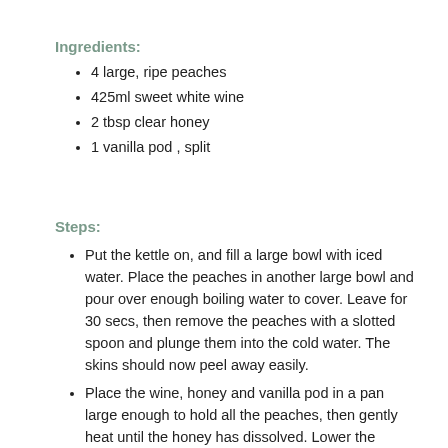Ingredients:
4 large, ripe peaches
425ml sweet white wine
2 tbsp clear honey
1 vanilla pod , split
Steps:
Put the kettle on, and fill a large bowl with iced water. Place the peaches in another large bowl and pour over enough boiling water to cover. Leave for 30 secs, then remove the peaches with a slotted spoon and plunge them into the cold water. The skins should now peel away easily.
Place the wine, honey and vanilla pod in a pan large enough to hold all the peaches, then gently heat until the honey has dissolved. Lower the peaches into the pan, cover and simmer gently